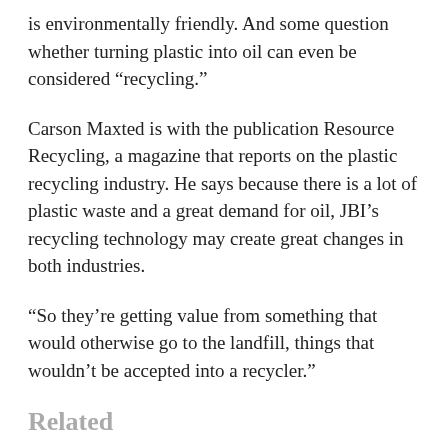is environmentally friendly. And some question whether turning plastic into oil can even be considered “recycling.”
Carson Maxted is with the publication Resource Recycling, a magazine that reports on the plastic recycling industry. He says because there is a lot of plastic waste and a great demand for oil, JBI’s recycling technology may create great changes in both industries.
“So they’re getting value from something that would otherwise go to the landfill, things that wouldn’t be accepted into a recycler.”
Related